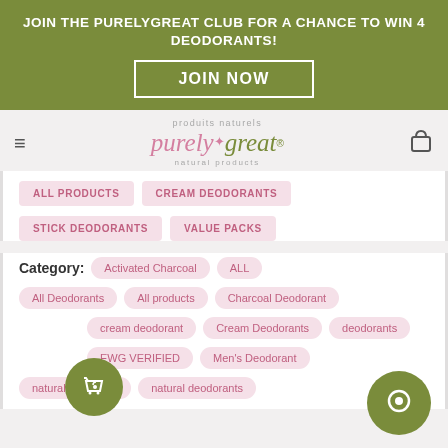JOIN THE PURELYGREAT CLUB FOR A CHANCE TO WIN 4 DEODORANTS!
JOIN NOW
[Figure (logo): purelygreat natural products logo with pink and green text, 'produits naturels' above]
ALL PRODUCTS
CREAM DEODORANTS
STICK DEODORANTS
VALUE PACKS
Category: Activated Charcoal  ALL  All Deodorants  All products  Charcoal Deodorant  cream deodorant  Cream Deodorants  deodorants  EWG VERIFIED  Men's Deodorant  natural deodorant  natural deodorants